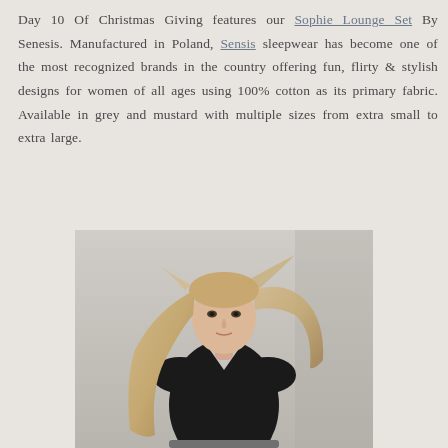Day 10 Of Christmas Giving features our Sophie Lounge Set By Senesis. Manufactured in Poland, Sensis sleepwear has become one of the most recognized brands in the country offering fun, flirty & stylish designs for women of all ages using 100% cotton as its primary fabric. Available in grey and mustard with multiple sizes from extra small to extra large.
[Figure (photo): A blonde woman wearing a black V-neck top and grey lounge pants with a tie waist, posed against a light grey background. Her long hair is blowing slightly.]